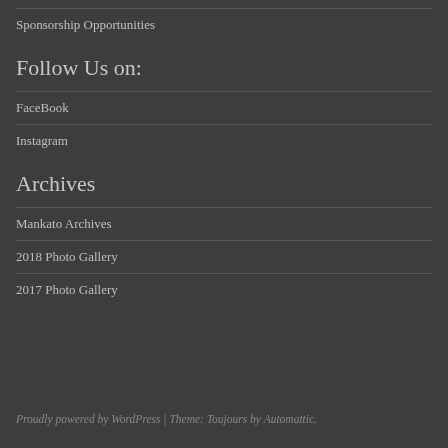Sponsorship Opportunities
Follow Us on:
FaceBook
Instagram
Archives
Mankato Archives
2018 Photo Gallery
2017 Photo Gallery
Proudly powered by WordPress | Theme: Toujours by Automattic.